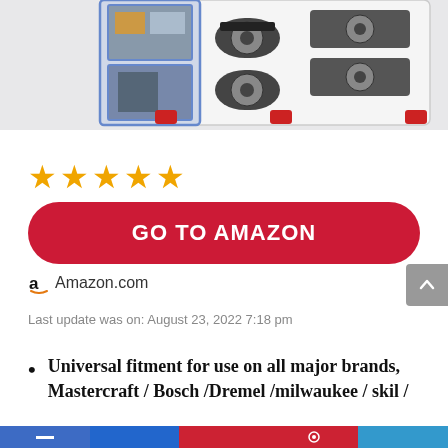[Figure (photo): Product photo showing a tool kit case with oscillating saw blades and attachments arranged in a plastic tray, partially cropped at top]
[Figure (other): Five orange star rating icons indicating a 5-star review]
GO TO AMAZON
Amazon.com
Last update was on: August 23, 2022 7:18 pm
Universal fitment for use on all major brands, Mastercraft / Bosch /Dremel /milwaukee / skil /